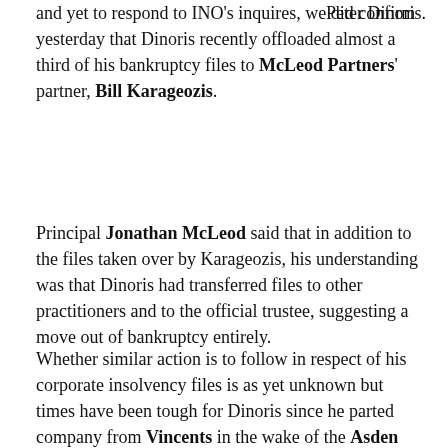Peter Dinoris.
and yet to respond to INO's inquires, we did confirm yesterday that Dinoris recently offloaded almost a third of his bankruptcy files to McLeod Partners' partner, Bill Karageozis.
Principal Jonathan McLeod said that in addition to the files taken over by Karageozis, his understanding was that Dinoris had transferred files to other practitioners and to the official trustee, suggesting a move out of bankruptcy entirely.
Whether similar action is to follow in respect of his corporate insolvency files is as yet unknown but times have been tough for Dinoris since he parted company from Vincents in the wake of the Asden Developments debacle.